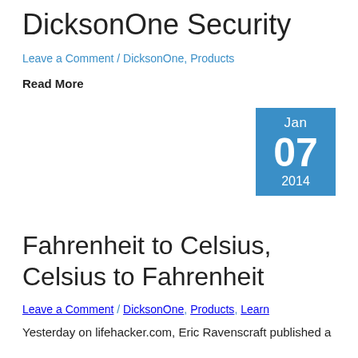DicksonOne Security
Leave a Comment / DicksonOne, Products
Read More
[Figure (other): Date badge showing Jan 07 2014 in blue square]
Fahrenheit to Celsius, Celsius to Fahrenheit
Leave a Comment / DicksonOne, Products, Learn
Yesterday on lifehacker.com, Eric Ravenscraft published a